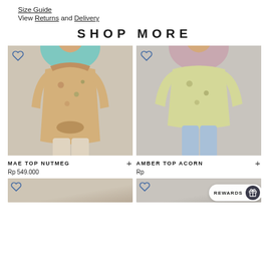Size Guide
View Returns and Delivery
SHOP MORE
[Figure (photo): Fashion photo of woman wearing teal hijab, floral printed top in nutmeg/beige tones, and beige trousers. Heart/wishlist icon in top left corner.]
MAE TOP NUTMEG
Rp 549.000
[Figure (photo): Fashion photo of woman wearing pink/lilac hijab, light yellow-green floral blouse, and light blue jeans. Heart/wishlist icon in top left corner.]
AMBER TOP ACORN
Rp
[Figure (photo): Partial view of fashion product card at bottom left, heart/wishlist icon visible.]
[Figure (photo): Partial view of fashion product card at bottom right, heart/wishlist icon visible. REWARDS button overlay visible.]